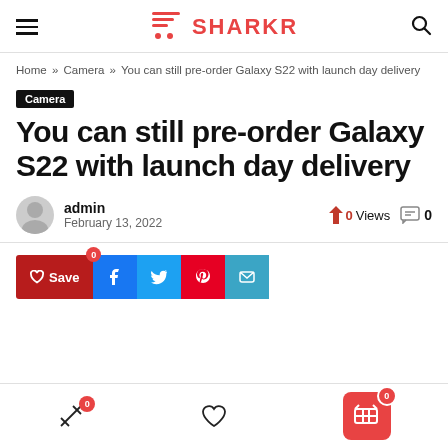SHARKR
Home » Camera » You can still pre-order Galaxy S22 with launch day delivery
Camera
You can still pre-order Galaxy S22 with launch day delivery
admin
February 13, 2022
0 Views
0 comments
Save 0 | Facebook share | Twitter share | Pinterest share | Email share